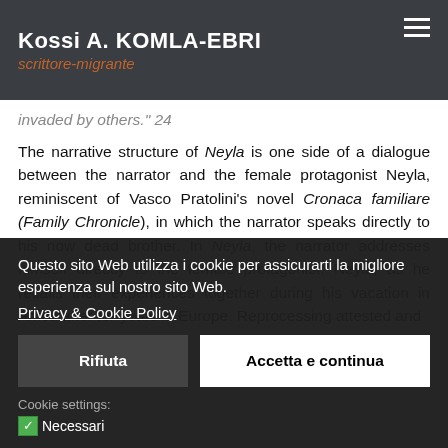Kossi A. KOMLA-EBRI
scr ittore-migrante
invaded by others." 24

The narrative structure of Neyla is one side of a dialogue between the narrator and the female protagonist Neyla, reminiscent of Vasco Pratolini's novel Cronaca familiare (Family Chronicle), in which the narrator speaks directly to his now dead brother. In Neyla, the narrator addresses himself directly to the female protagonist, Neyla, as he recalls their experiences together during his vacation in Africa after for years in Europe. Reprocessing attested and
Questo sito Web utilizza i cookie per assicurarti la migliore esperienza sul nostro sito Web.
Privacy & Cookie Policy
Rifiuta
Accetta e continua
Cookie settings:
✓ Necessari